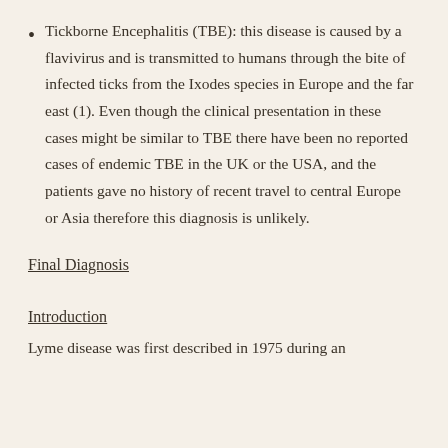Tickborne Encephalitis (TBE): this disease is caused by a flavivirus and is transmitted to humans through the bite of infected ticks from the Ixodes species in Europe and the far east (1). Even though the clinical presentation in these cases might be similar to TBE there have been no reported cases of endemic TBE in the UK or the USA, and the patients gave no history of recent travel to central Europe or Asia therefore this diagnosis is unlikely.
Final Diagnosis
Introduction
Lyme disease was first described in 1975 during an